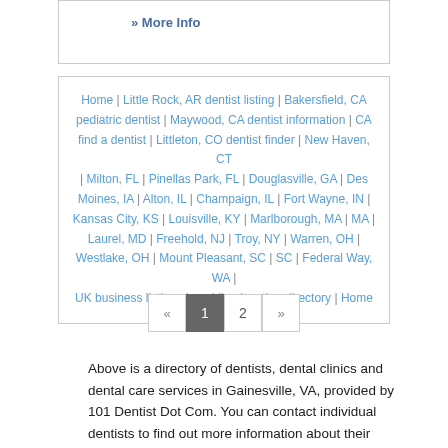» More Info
Home | Little Rock, AR dentist listing | Bakersfield, CA pediatric dentist | Maywood, CA dentist information | CA find a dentist | Littleton, CO dentist finder | New Haven, CT | Milton, FL | Pinellas Park, FL | Douglasville, GA | Des Moines, IA | Alton, IL | Champaign, IL | Fort Wayne, IN | Kansas City, KS | Louisville, KY | Marlborough, MA | MA | Laurel, MD | Freehold, NJ | Troy, NY | Warren, OH | Westlake, OH | Mount Pleasant, SC | SC | Federal Way, WA | UK business listings | wedding location directory | Home
« 1 2 »
Above is a directory of dentists, dental clinics and dental care services in Gainesville, VA, provided by 101 Dentist Dot Com. You can contact individual dentists to find out more information about their